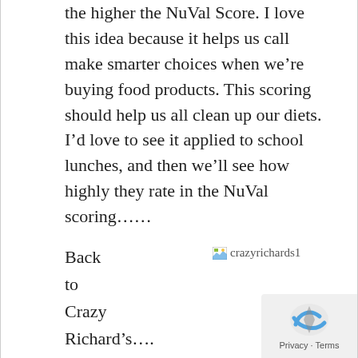the higher the NuVal Score. I love this idea because it helps us call make smarter choices when we're buying food products. This scoring should help us all clean up our diets. I'd love to see it applied to school lunches, and then we'll see how highly they rate in the NuVal scoring……
Back to Crazy Richard's…. Seeing as I loved the Almo
[Figure (illustration): Broken image placeholder icon labeled 'crazyrichards1']